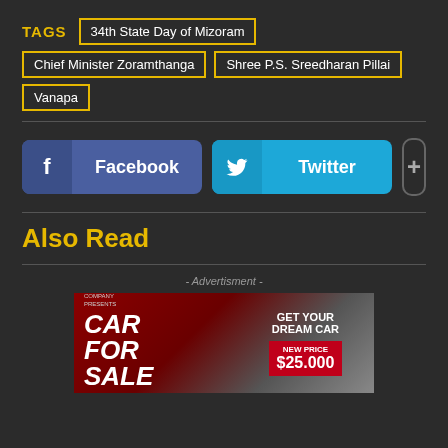TAGS | 34th State Day of Mizoram | Chief Minister Zoramthanga | Shree P.S. Sreedharan Pillai | Vanapa
[Figure (screenshot): Social share buttons: Facebook (blue), Twitter (cyan), and a plus button]
Also Read
- Advertisment -
[Figure (illustration): Car for sale advertisement banner with red and grey design. Text: YOUR COMPANY PRESENTS, CAR FOR SALE, GET YOUR DREAM CAR, NEW PRICE $25.000]